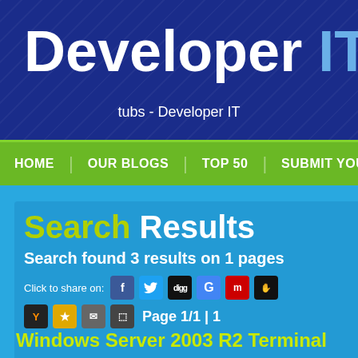Developer IT
tubs - Developer IT
HOME  OUR BLOGS  TOP 50  SUBMIT YOUR S
Search Results
Search found 3 results on 1 pages
Click to share on:
Page 1/1 | 1
Windows Server 2003 R2 Terminal